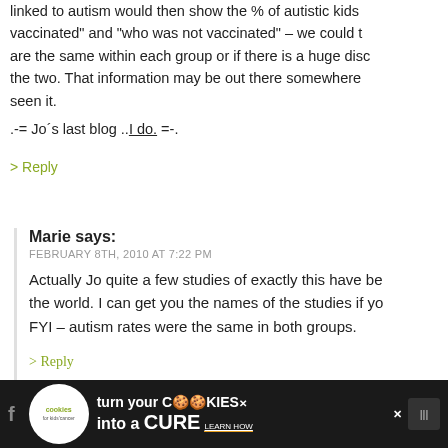linked to autism would then show the % of autistic kids vaccinated" and "who was not vaccinated" – we could t are the same within each group or if there is a huge disc the two. That information may be out there somewhere seen it.
.-= Jo´s last blog ..I do. =-.
> Reply
Marie says:
FEBRUARY 8TH, 2010 AT 7:22 PM
Actually Jo quite a few studies of exactly this have be the world. I can get you the names of the studies if yo FYI – autism rates were the same in both groups.
> Reply
Adrianne says:
FEBRUARY 9TH, 2010 AT 7:14 AM
I'm interested! I'd love to know the actual statistics
[Figure (infographic): Advertisement banner: cookies for kids cancer - turn your cookies into a cure learn how]